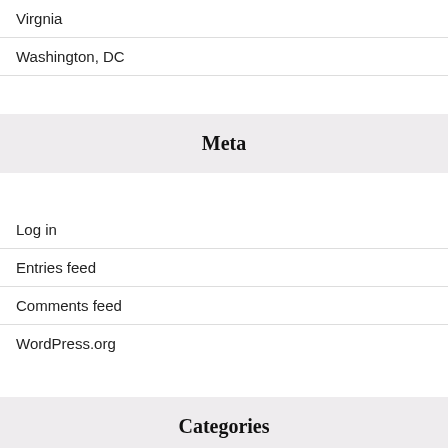Virgnia
Washington, DC
Meta
Log in
Entries feed
Comments feed
WordPress.org
Categories